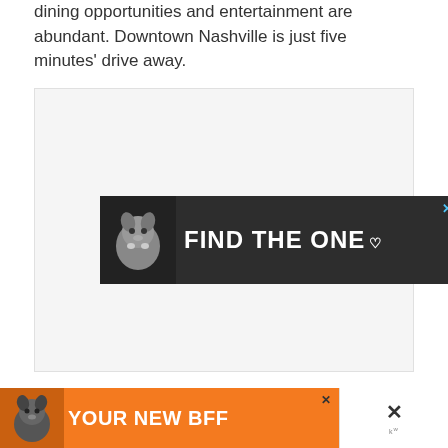dining opportunities and entertainment are abundant. Downtown Nashville is just five minutes' drive away.
[Figure (other): Advertisement banner with dark background showing a dog and text 'FIND THE ONE' with a heart symbol and a close button]
[Figure (other): Bottom advertisement strip with orange background showing a dog and text 'YOUR NEW BFF' with a close button on the right side]